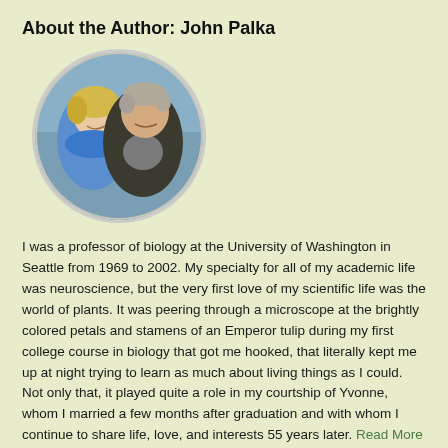About the Author: John Palka
[Figure (photo): Circular portrait photo of two people, a woman with curly blonde hair wearing a blue jacket and a man with gray hair wearing a dark jacket, smiling outdoors near a beach or coastal area.]
I was a professor of biology at the University of Washington in Seattle from 1969 to 2002. My specialty for all of my academic life was neuroscience, but the very first love of my scientific life was the world of plants. It was peering through a microscope at the brightly colored petals and stamens of an Emperor tulip during my first college course in biology that got me hooked, that literally kept me up at night trying to learn as much about living things as I could. Not only that, it played quite a role in my courtship of Yvonne, whom I married a few months after graduation and with whom I continue to share life, love, and interests 55 years later. Read More